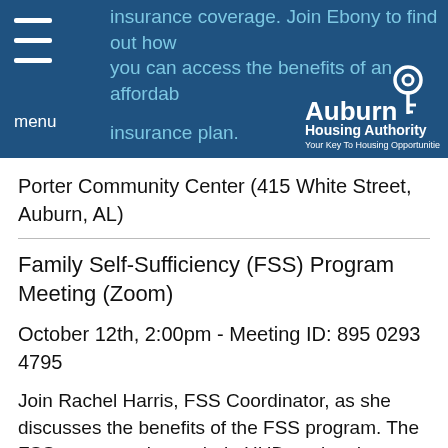insurance coverage. Join Ebony to find out how you can access the benefits of an affordable insurance plan.
Porter Community Center (415 White Street, Auburn, AL)
Family Self-Sufficiency (FSS) Program Meeting (Zoom)
October 12th, 2:00pm - Meeting ID: 895 0293 4795
Join Rachel Harris, FSS Coordinator, as she discusses the benefits of the FSS program. The FSS program aims to help HUD-assisted families increase their income by connecting participants with resources in the community while depositing money into an escrow savings account. The FSS program is available to PBV & TBV...